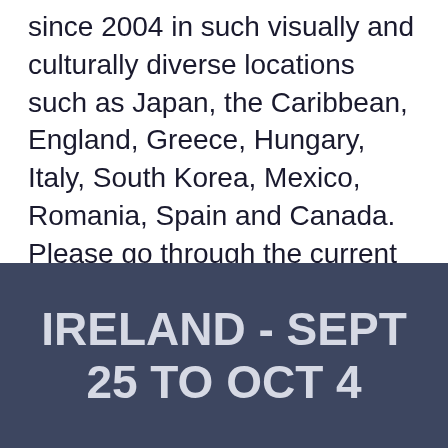since 2004 in such visually and culturally diverse locations such as Japan, the Caribbean, England, Greece, Hungary, Italy, South Korea, Mexico, Romania, Spain and Canada. Please go through the current itinerary and Contact Mark if you have any questions about any of the photo workshops or photo tours. Mark warmly welcomes you to any of the workshops below!
IRELAND - SEPT 25 TO OCT 4